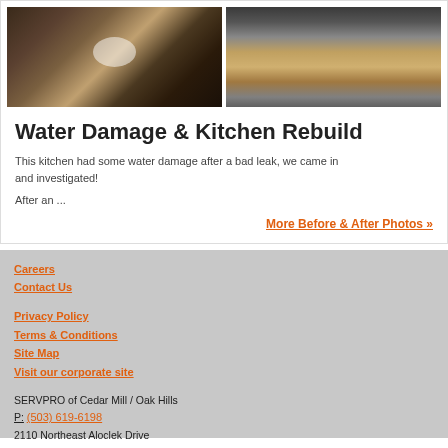[Figure (photo): Before photo: damaged kitchen/wall with exposed framing and debris]
[Figure (photo): After photo: rebuilt kitchen with new cabinets and countertops]
Water Damage & Kitchen Rebuild
This kitchen had some water damage after a bad leak, we came in and investigated!
After an ...
More Before & After Photos »
Careers
Contact Us
Privacy Policy
Terms & Conditions
Site Map
Visit our corporate site
SERVPRO of Cedar Mill / Oak Hills
P: (503) 619-6198
2110 Northeast Aloclek Drive
Suite 601